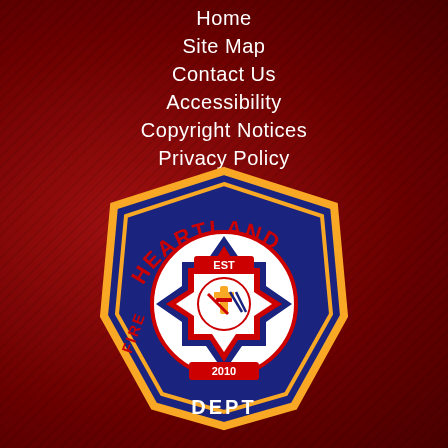Home
Site Map
Contact Us
Accessibility
Copyright Notices
Privacy Policy
[Figure (logo): Heartland Fire Rescue Dept badge/patch logo. Dark navy blue shield-like shape with yellow border. Red text HEARTLAND arched at top, FIRE and RESCUE on sides, DEPT at bottom. Center shows a Maltese cross with fire department emblems, EST and 2010 text.]